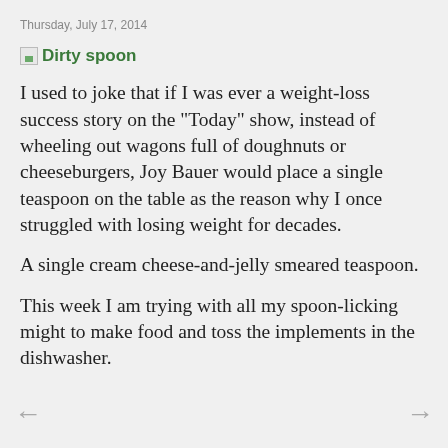Thursday, July 17, 2014
[Figure (illustration): Dirty spoon image link with green text label]
I used to joke that if I was ever a weight-loss success story on the "Today" show, instead of wheeling out wagons full of doughnuts or cheeseburgers, Joy Bauer would place a single teaspoon on the table as the reason why I once struggled with losing weight for decades.
A single cream cheese-and-jelly smeared teaspoon.
This week I am trying with all my spoon-licking might to make food and toss the implements in the dishwasher.